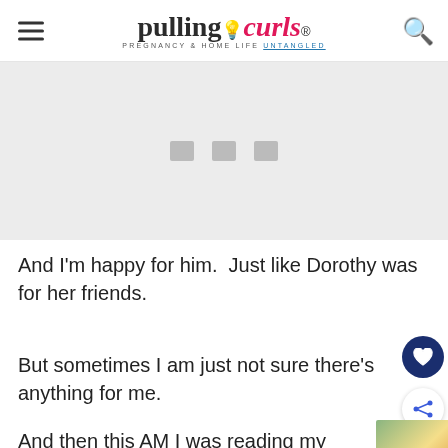pulling curls — PREGNANCY & HOME LIFE UNTANGLED
[Figure (illustration): Gray placeholder image area with share/social icons row]
And I'm happy for him.  Just like Dorothy was for her friends.
But sometimes I am just not sure there's anything for me.
And then this AM I was reading my scriptures.  This